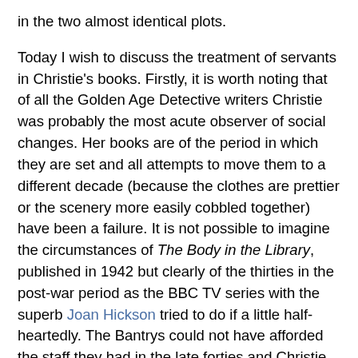in the two almost identical plots.
Today I wish to discuss the treatment of servants in Christie's books. Firstly, it is worth noting that of all the Golden Age Detective writers Christie was probably the most acute observer of social changes. Her books are of the period in which they are set and all attempts to move them to a different decade (because the clothes are prettier or the scenery more easily cobbled together) have been a failure. It is not possible to imagine the circumstances of The Body in the Library, published in 1942 but clearly of the thirties in the post-war period as the BBC TV series with the superb Joan Hickson tried to do if a little half-heartedly. The Bantrys could not have afforded the staff they had in the late forties and Christie would not have written that.
The early novels and short stories have a good many servants. Large houses have large staff, smaller households have usually two servants, a cook and a maid, bachelors' establishments have men servants. Even the vicarage where the murder is committed has a servant of quite unsurpassable incompetence. In The Moving Finger, also